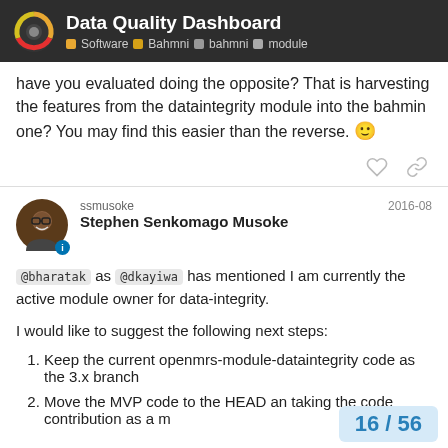Data Quality Dashboard | Software | Bahmni | bahmni | module
have you evaluated doing the opposite? That is harvesting the features from the dataintegrity module into the bahmin one? You may find this easier than the reverse. 🙂
ssmusoke
Stephen Senkomago Musoke
2016-08
@bharatak as @dkayiwa has mentioned I am currently the active module owner for data-integrity.

I would like to suggest the following next steps:
Keep the current openmrs-module-dataintegrity code as the 3.x branch
Move the MVP code to the HEAD an taking the code contribution as a m